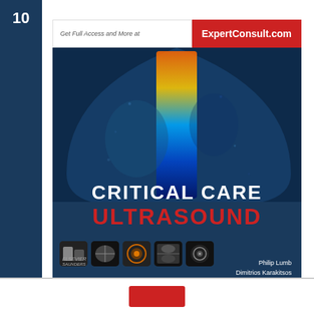10
[Figure (photo): Book cover for 'Critical Care Ultrasound' by Philip Lumb and Dimitrios Karakitsos, published by Elsevier. The cover features an ultrasound image with colorized Doppler overlay in orange, yellow, and blue. A banner at the top reads 'Get Full Access and More at ExpertConsult.com'. The bottom shows five thumbnail ultrasound images and the authors' names.]